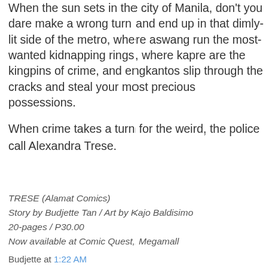When the sun sets in the city of Manila, don't you dare make a wrong turn and end up in that dimly-lit side of the metro, where aswang run the most-wanted kidnapping rings, where kapre are the kingpins of crime, and engkantos slip through the cracks and steal your most precious possessions.

When crime takes a turn for the weird, the police call Alexandra Trese.
TRESE (Alamat Comics)
Story by Budjette Tan / Art by Kajo Baldisimo
20-pages / P30.00
Now available at Comic Quest, Megamall
Budjette at 1:22 AM